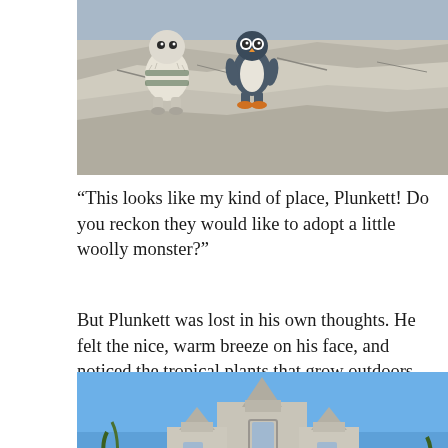[Figure (photo): Two knitted toy figures (a white woolly monster and a dark penguin-like toy) sitting on rocky grey terrain outdoors, with blue sky in the background.]
“This looks like my kind of place, Plunkett! Do you reckon they would like to adopt a little woolly monster?”
But Plunkett was lost in his own thoughts. He felt the nice, warm breeze on his face, and noticed the tropical plants that grow outdoors here all year round.
[Figure (photo): A large Victorian-style stone castle or stately home photographed from below against a bright blue sky, with tropical palm-like plants (cabbage trees/cordylines) and pine trees in the foreground.]